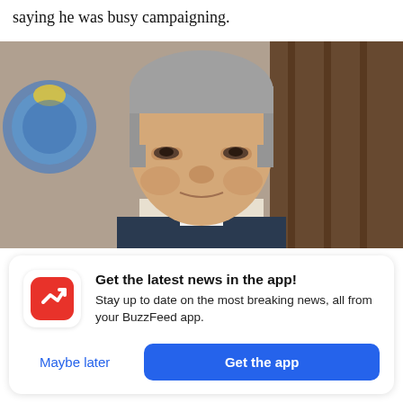saying he was busy campaigning.
[Figure (photo): Close-up portrait photo of a middle-aged man with gray hair, wearing a suit, in front of a blurred background with what appears to be an official seal.]
Get the latest news in the app! Stay up to date on the most breaking news, all from your BuzzFeed app.
Maybe later
Get the app